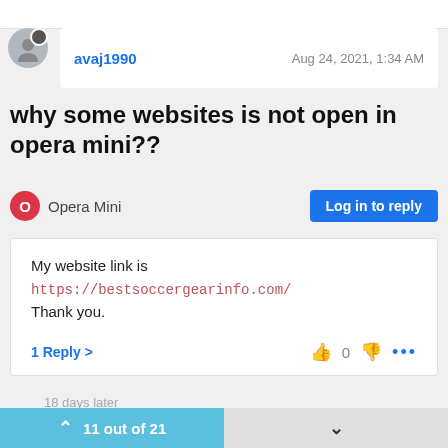avaj1990   Aug 24, 2021, 1:34 AM
why some websites is not open in opera mini??
Opera Mini
Log in to reply
My website link is
https://bestsoccergearinfo.com/
Thank you.
1 Reply >   0   ...
18 days later
11 out of 21